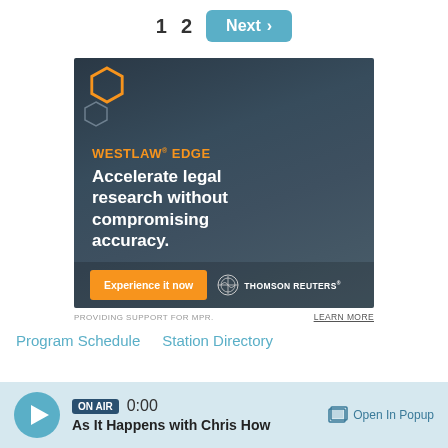1   2   Next >
[Figure (photo): Westlaw Edge advertisement showing a woman with glasses working on a laptop. Text reads: WESTLAW EDGE - Accelerate legal research without compromising accuracy. Experience it now. Thomson Reuters.]
PROVIDING SUPPORT FOR MPR.    LEARN MORE
Program Schedule    Station Directory
ON AIR  0:00  As It Happens with Chris How    Open In Popup